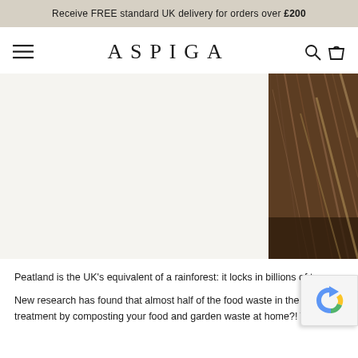Receive FREE standard UK delivery for orders over £200
[Figure (screenshot): Aspiga website header with hamburger menu icon on left, ASPIGA logo in center, search and cart icons on right]
[Figure (photo): Close-up nature/outdoor photo panel on right side showing dark earthy tones, appears to be peatland or natural material]
Peatland is the UK's equivalent of a rainforest: it locks in billions of to
New research has found that almost half of the food waste in the aver treatment by composting your food and garden waste at home?! Try a